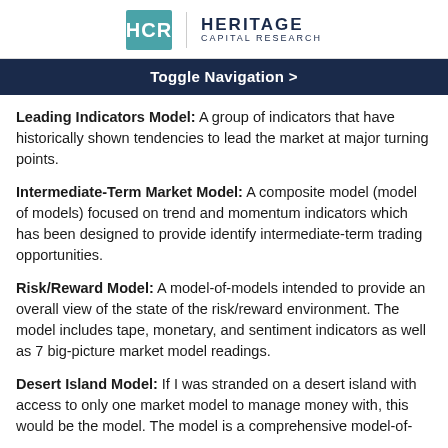HCR | HERITAGE CAPITAL RESEARCH
Toggle Navigation >
Leading Indicators Model: A group of indicators that have historically shown tendencies to lead the market at major turning points.
Intermediate-Term Market Model: A composite model (model of models) focused on trend and momentum indicators which has been designed to provide identify intermediate-term trading opportunities.
Risk/Reward Model: A model-of-models intended to provide an overall view of the state of the risk/reward environment. The model includes tape, monetary, and sentiment indicators as well as 7 big-picture market model readings.
Desert Island Model: If I was stranded on a desert island with access to only one market model to manage money with, this would be the model. The model is a comprehensive model-of-